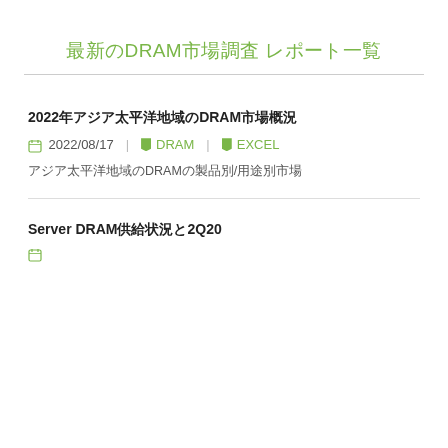最新のDRAM市場調査 レポート一覧
2022年アジア太平洋地域のDRAM市場概況
2022/08/17 | DRAM | EXCEL
アジア太平洋地域のDRAMの製品別/用途別市場
Server DRAMの供給状況と2Q20